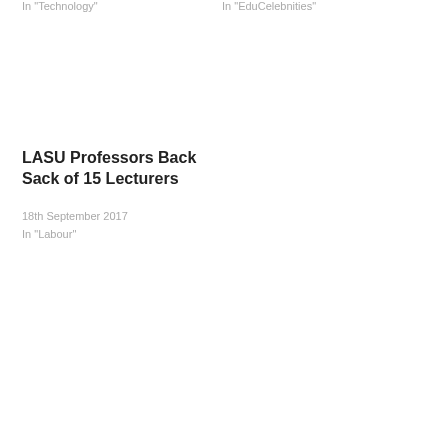In "Technology"
In "EduCelebnities"
LASU Professors Back Sack of 15 Lecturers
18th September 2017
In "Labour"